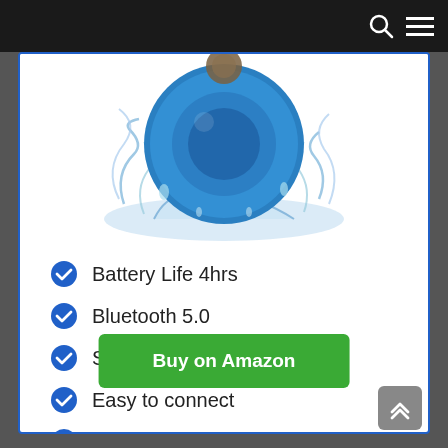Navigation bar with search and menu icons
[Figure (photo): Bluetooth waterproof speaker (blue, round) with water splashing around it]
Battery Life 4hrs
Bluetooth 5.0
Suction cup
Easy to connect
Built-in Mic
Buy on Amazon